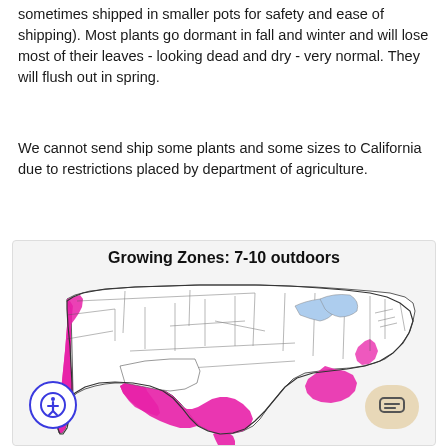sometimes shipped in smaller pots for safety and ease of shipping). Most plants go dormant in fall and winter and will lose most of their leaves - looking dead and dry - very normal. They will flush out in spring.
We cannot send ship some plants and some sizes to California due to restrictions placed by department of agriculture.
[Figure (map): US map showing growing zones 7-10 outdoors, with highlighted regions in pink/magenta along the West Coast (California, Oregon, Washington coast), Gulf Coast, Southeast US, and parts of the mid-Atlantic coast.]